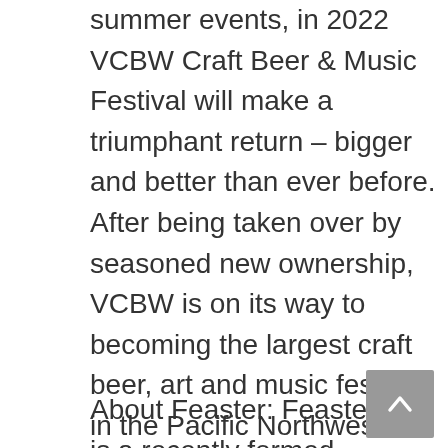summer events, in 2022 VCBW Craft Beer & Music Festival will make a triumphant return – bigger and better than ever before. After being taken over by seasoned new ownership, VCBW is on its way to becoming the largest craft beer, art and music festival in the Pacific Northwest. With over 150 craft beers and ciders, breweries, local art displays, food from some of the best chefs, restaurants and live music from talented mainstream artists, VCBW is set to be a summer celebration for all, attracting more than just craft beer fans from around the Lower Mainland and beyond.
About Feaster: Feaster is a recently formed Vancouver-based event production company led